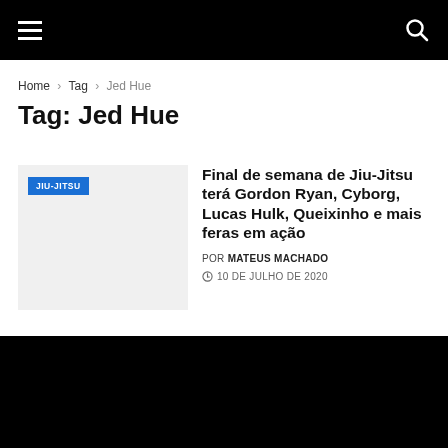Navigation bar with hamburger menu and search icon
Home › Tag › Jed Hue
Tag: Jed Hue
[Figure (other): Article thumbnail placeholder image with JIU-JITSU category badge]
Final de semana de Jiu-Jitsu terá Gordon Ryan, Cyborg, Lucas Hulk, Queixinho e mais feras em ação
POR MATEUS MACHADO
10 DE JULHO DE 2020